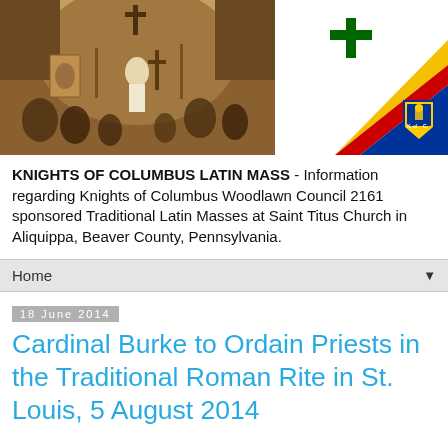[Figure (illustration): Banner image: left half shows a sepia-toned historical illustration of a Catholic mass scene with figures gathered around an altar/cross. Right half shows a white background with a green cross in the upper center, and a diagonal stripe design in gold/yellow, red, and navy blue in the lower right, with a Knights of Columbus emblem shield in the lower right corner.]
KNIGHTS OF COLUMBUS LATIN MASS - Information regarding Knights of Columbus Woodlawn Council 2161 sponsored Traditional Latin Masses at Saint Titus Church in Aliquippa, Beaver County, Pennsylvania.
Home
18 June 2014
Cardinal Burke to Ordain Priests in the Traditional Roman Rite in St. Louis, 5 August 2014